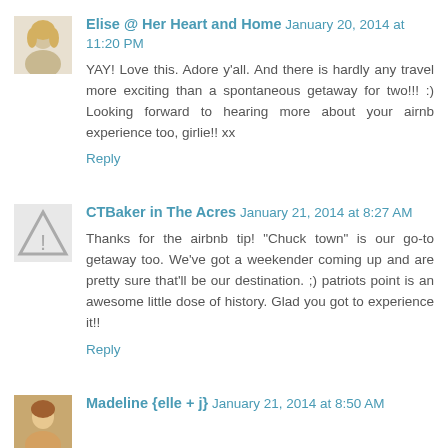Elise @ Her Heart and Home  January 20, 2014 at 11:20 PM
YAY! Love this. Adore y'all. And there is hardly any travel more exciting than a spontaneous getaway for two!!! :) Looking forward to hearing more about your airnb experience too, girlie!! xx
Reply
CTBaker in The Acres  January 21, 2014 at 8:27 AM
Thanks for the airbnb tip! "Chuck town" is our go-to getaway too. We've got a weekender coming up and are pretty sure that'll be our destination. ;) patriots point is an awesome little dose of history. Glad you got to experience it!!
Reply
Madeline {elle + j}  January 21, 2014 at 8:50 AM